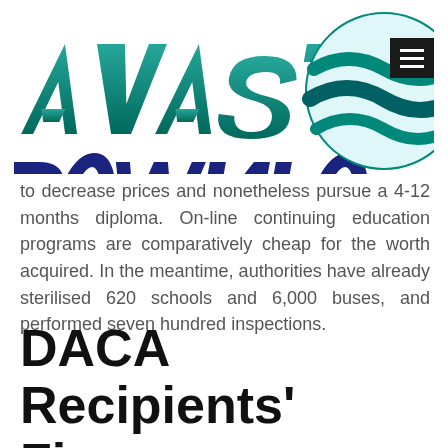[Figure (logo): AVAST DOWNLOAD logo with teal and navy stylized text and circular globe/wave graphic on the right]
to decrease prices and nonetheless pursue a 4-12 months diploma. On-line continuing education programs are comparatively cheap for the worth acquired. In the meantime, authorities have already sterilised 620 schools and 6,000 buses, and performed seven hundred inspections.
DACA Recipients' Financial Aid